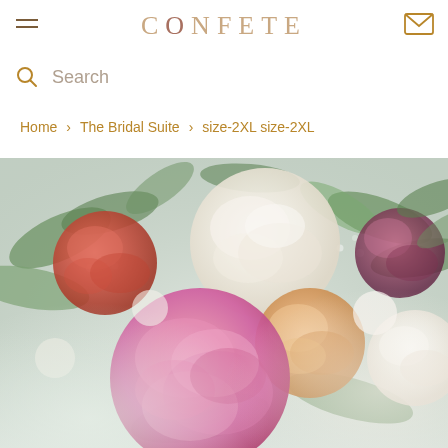CONFETE
Search
Home › The Bridal Suite › size-2XL size-2XL
[Figure (photo): Close-up floral arrangement photo featuring pink peonies, coral/peach roses, white blooms, and green eucalyptus leaves on a soft pastel background]